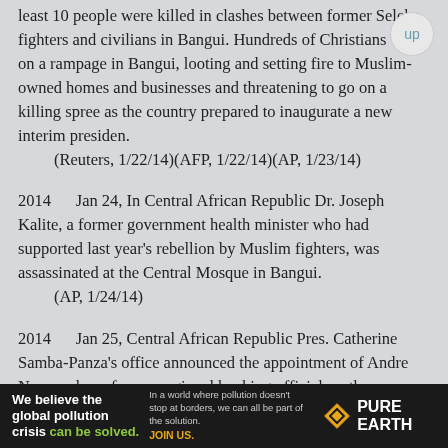least 10 people were killed in clashes between former Seleka fighters and civilians in Bangui. Hundreds of Christians went on a rampage in Bangui, looting and setting fire to Muslim-owned homes and businesses and threatening to go on a killing spree as the country prepared to inaugurate a new interim presiden.
    (Reuters, 1/22/14)(AFP, 1/22/14)(AP, 1/23/14)
2014     Jan 24, In Central African Republic Dr. Joseph Kalite, a former government health minister who had supported last year's rebellion by Muslim fighters, was assassinated at the Central Mosque in Bangui.
    (AP, 1/24/14)
2014     Jan 25, Central African Republic Pres. Catherine Samba-Panza's office announced the appointment of Andre Nzapayeke, a former regional banking official, as the new prime minister.
    (AP, 1/26/14)
[Figure (infographic): Advertisement banner for Pure Earth: 'We believe the global pollution crisis can be solved.' with tagline about pollution not stopping at borders and 'JOIN US.' call to action, with Pure Earth diamond logo.]